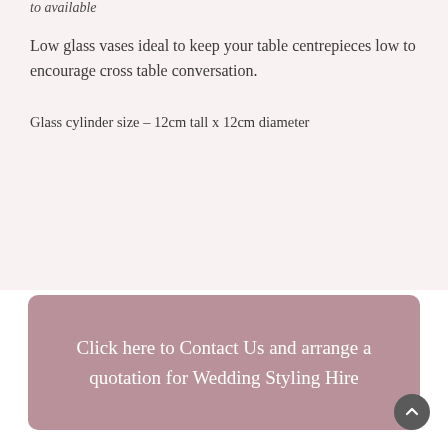to available
Low glass vases ideal to keep your table centrepieces low to encourage cross table conversation.
Glass cylinder size – 12cm tall x 12cm diameter
Click here to Contact Us and arrange a quotation for Wedding Styling Hire